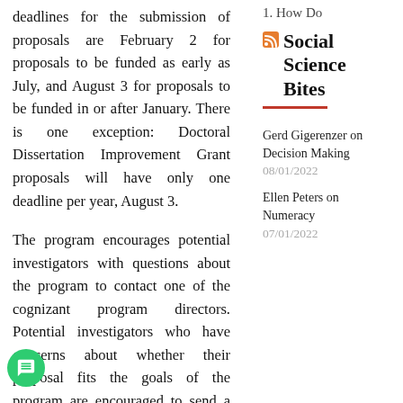deadlines for the submission of proposals are February 2 for proposals to be funded as early as July, and August 3 for proposals to be funded in or after January. There is one exception: Doctoral Dissertation Improvement Grant proposals will have only one deadline per year, August 3.
The program encourages potential investigators with questions about the program to contact one of the cognizant program directors. Potential investigators who have concerns about whether their proposal fits the goals of the program are encouraged to send a one-page prospectus of their
1. How Do
Social Science Bites
Gerd Gigerenzer on Decision Making
08/01/2022
Ellen Peters on Numeracy
07/01/2022